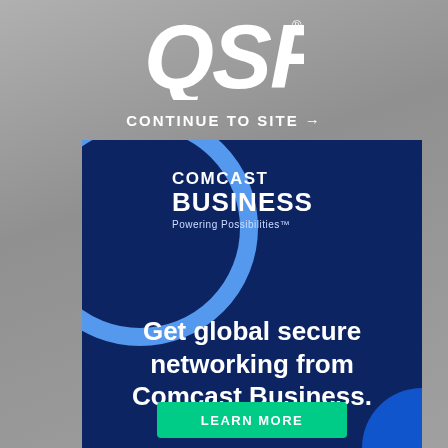[Figure (logo): QSR magazine logo in white bold italic lettering with registered trademark symbol]
CONTINUE TO SITE →
[Figure (advertisement): Comcast Business advertisement on dark navy background with decorative blue circle arc, logo, tagline 'Powering Possibilities™', main text 'Get global secure networking from Comcast Business.', and a green LEARN MORE button at the bottom]